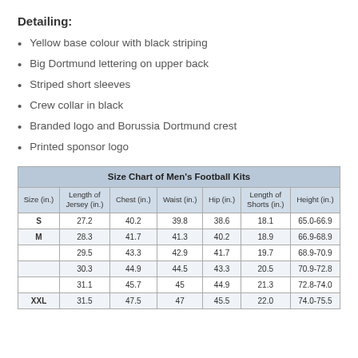Detailing:
Yellow base colour with black striping
Big Dortmund lettering on upper back
Striped short sleeves
Crew collar in black
Branded logo and Borussia Dortmund crest
Printed sponsor logo
| Size (in.) | Length of Jersey (in.) | Chest (in.) | Waist (in.) | Hip (in.) | Length of Shorts (in.) | Height (in.) |
| --- | --- | --- | --- | --- | --- | --- |
| S | 27.2 | 40.2 | 39.8 | 38.6 | 18.1 | 65.0-66.9 |
| M | 28.3 | 41.7 | 41.3 | 40.2 | 18.9 | 66.9-68.9 |
|  | 29.5 | 43.3 | 42.9 | 41.7 | 19.7 | 68.9-70.9 |
|  | 30.3 | 44.9 | 44.5 | 43.3 | 20.5 | 70.9-72.8 |
|  | 31.1 | 45.7 | 45 | 44.9 | 21.3 | 72.8-74.0 |
| XXL | 31.5 | 47.5 | 47 | 45.5 | 22.0 | 74.0-75.5 |